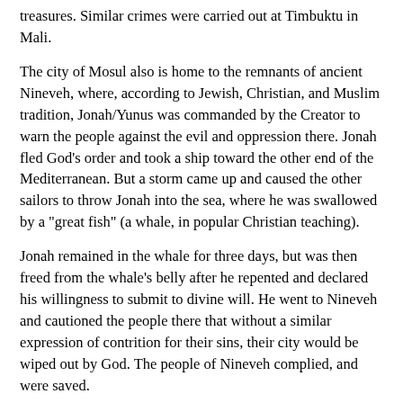treasures. Similar crimes were carried out at Timbuktu in Mali.
The city of Mosul also is home to the remnants of ancient Nineveh, where, according to Jewish, Christian, and Muslim tradition, Jonah/Yunus was commanded by the Creator to warn the people against the evil and oppression there. Jonah fled God's order and took a ship toward the other end of the Mediterranean. But a storm came up and caused the other sailors to throw Jonah into the sea, where he was swallowed by a "great fish" (a whale, in popular Christian teaching).
Jonah remained in the whale for three days, but was then freed from the whale's belly after he repented and declared his willingness to submit to divine will. He went to Nineveh and cautioned the people there that without a similar expression of contrition for their sins, their city would be wiped out by God. The people of Nineveh complied, and were saved.
What is important about the story of Jonah is that rather than acting to prevent the spread of ISIS into Iraq, and rather than recognizing and naming the Wahhabi radicalism that inspires ISIS, governments and media across the globe have blamed the ISIS eruption on local Iraqi politics and described it as a product of a nebulous "Sunnism." Both governments and the media flee from their responsibility to name the terrorists and identify their